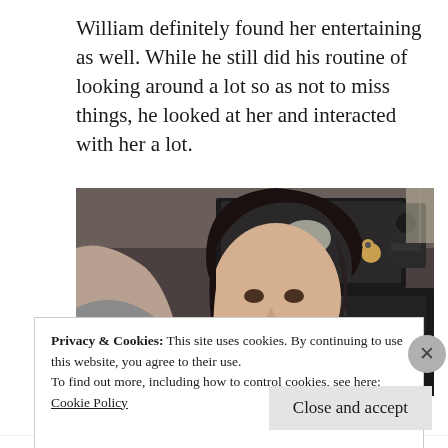William definitely found her entertaining as well. While he still did his routine of looking around a lot so as not to miss things, he looked at her and interacted with her a lot.
[Figure (photo): A smiling woman of Asian descent looking at a screen, with electronics and speakers visible in the background.]
Privacy & Cookies: This site uses cookies. By continuing to use this website, you agree to their use.
To find out more, including how to control cookies, see here:
Cookie Policy
Close and accept